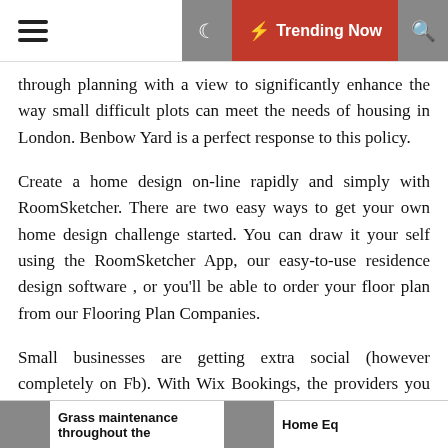☰  [moon icon]  ⚡ Trending Now  🔍
through planning with a view to significantly enhance the way small difficult plots can meet the needs of housing in London. Benbow Yard is a perfect response to this policy.
Create a home design on-line rapidly and simply with RoomSketcher. There are two easy ways to get your own home design challenge started. You can draw it your self using the RoomSketcher App, our easy-to-use residence design software , or you'll be able to order your floor plan from our Flooring Plan Companies.
Small businesses are getting extra social (however completely on Fb). With Wix Bookings, the providers you provide are entrance and middle, prepared for purchasers to schedule a tune-up on-line. In response to Nextria, fifty seven p.c of consumers would considerably contact firms on-line than name them for assist. They try this to succeed in new audiences and drive more people to their
Grass maintenance throughout the    Home Eq